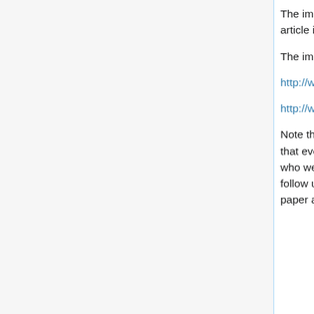The immediate impression is that as far as statistics is concerned, it looks like any other article in the health field.
The important statistics appear in Tables 1 and III
http://www.dartmouth.edu/~chance/forwiki/Table1.jpg
http://www.dartmouth.edu/~chance/forwiki/Table3.gif
Note that there is no claim that everyone in Group 2 (the group using Infuse) did well or that everyone in Group 1 fared poorly. Further, as in legitimate studies, there are patients who were not included because of an additional problem (head injury) or were lost to follow up. The data is there for reviewers and others to do the calculations which in this paper are the difference in proportions, a standard